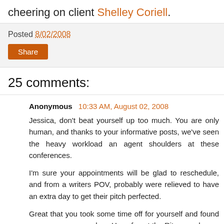cheering on client Shelley Coriell.
Posted 8/02/2008
Share
25 comments:
Anonymous  10:33 AM, August 02, 2008
Jessica, don't beat yourself up too much. You are only human, and thanks to your informative posts, we've seen the heavy workload an agent shoulders at these conferences.
I'm sure your appointments will be glad to reschedule, and from a writers POV, probably were relieved to have an extra day to get their pitch perfected.
Great that you took some time off for yourself and found some yummy cupcakes. Have fun at the Rita awards